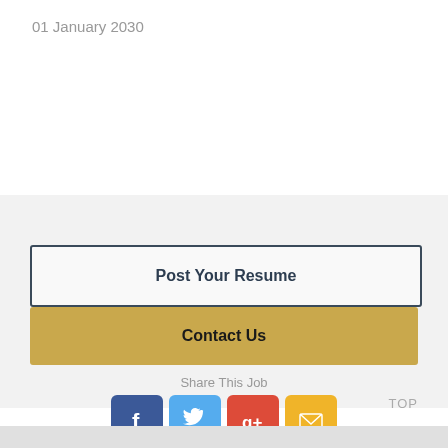01 January 2030
Post Your Resume
Contact Us
Share This Job
[Figure (infographic): Social share buttons: Facebook (blue), Twitter (cyan), Google+ (red), Email (orange/yellow)]
TOP